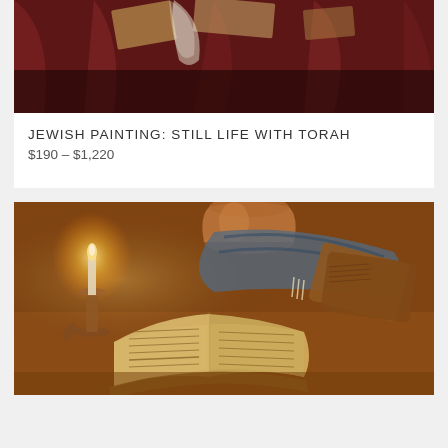[Figure (photo): Bottom portion of a Jewish painting showing a still life with Torah scrolls and books against a dark red/maroon draped background]
JEWISH PAINTING: STILL LIFE WITH TORAH
$190 – $1,220
[Figure (photo): Jewish still life painting showing an open Torah/book with handwritten text, a lit candle in a brass candlestick, a copper jug, prayer shawl (tallit) with tzitzit, and additional books/scrolls on a wooden table, rendered in warm golden-brown tones]